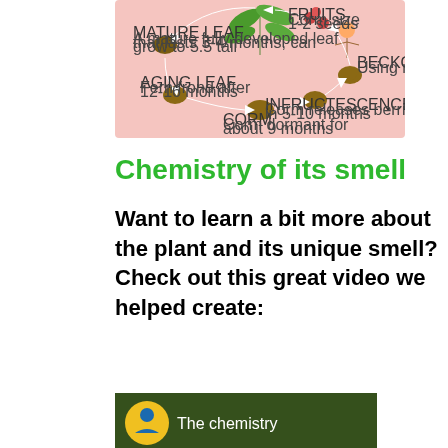[Figure (infographic): Lifecycle diagram of a plant (likely Amorphophallus/corpse flower) showing stages: mature leaf, aging leaf, corm, infructescence, fruits, and beckons, with arrows connecting them in a cycle. Pink background with illustrated plant parts.]
Chemistry of its smell
Want to learn a bit more about the plant and its unique smell? Check out this great video we helped create:
[Figure (screenshot): Bottom portion of a video thumbnail showing circular logo and text 'The chemistry...']